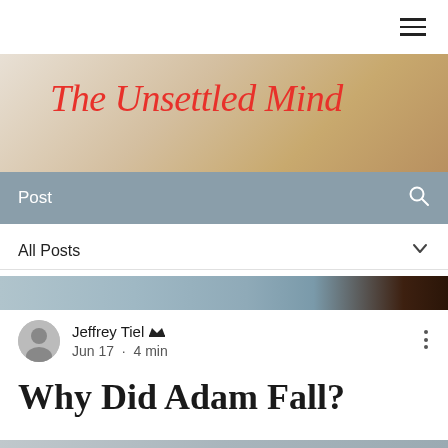☰
[Figure (illustration): Blog header banner image with text 'The Unsettled Mind' in red italic script over a warm background with eggs/baked goods]
The Unsettled Mind
Post
All Posts
[Figure (photo): Partial article thumbnail image strip showing a blurred blue-grey and dark brown scene]
Jeffrey Tiel 👑
Jun 17 · 4 min
Why Did Adam Fall?